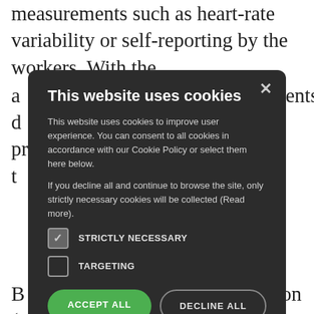measurements such as heart-rate variability or self-reporting by the workers. With the a easurements d ed to provide t
[Figure (screenshot): Cookie consent modal dialog overlaid on article text. Modal has dark background, title 'This website uses cookies', body text about cookie policy, two checkboxes (STRICTLY NECESSARY checked, TARGETING unchecked), ACCEPT ALL and DECLINE ALL buttons, and SHOW DETAILS link. Background shows partial article text about measurements, application, states, Watson, etc.]
B lication ( al states to d ch as high- L mples may i Watson r ed mainly via v would e cilitate a d or instance t ne wheel, or a s shift planning using historical data about individual